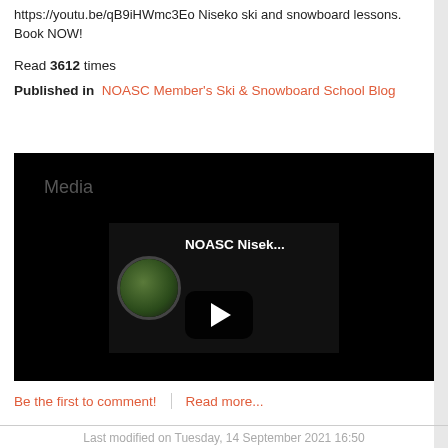https://youtu.be/qB9iHWmc3Eo Niseko ski and snowboard lessons. Book NOW!
Read 3612 times
Published in  NOASC Member's Ski & Snowboard School Blog
[Figure (screenshot): Embedded YouTube video player showing NOASC Niseko ski/snowboard lesson video with black background, Media label, video thumbnail with circular logo, play button, and title NOASC Nisek...]
Be the first to comment!   |   Read more...
Last modified on Tuesday, 14 September 2021 16:50